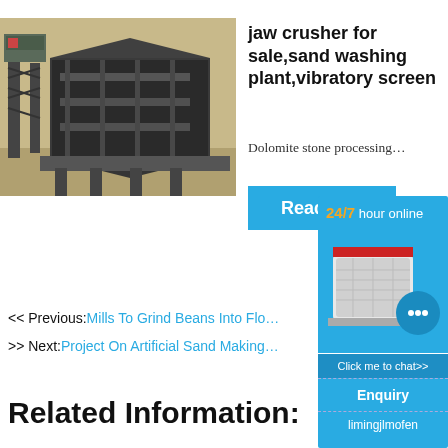[Figure (photo): Industrial jaw crusher / vibratory screen equipment at a stone processing site, aerial view showing large machinery structures]
jaw crusher for sale,sand washing plant,vibratory screen
Dolomite stone processing…
[Figure (infographic): Read More button (blue) and 24/7 hour online chat widget showing an industrial machine photo, chat bubble icon, Click me to chat>> button, Enquiry button, and limingjlmofen text]
<< Previous:Mills To Grind Beans Into Flo…
>> Next:Project On Artificial Sand Making…
Related Information: